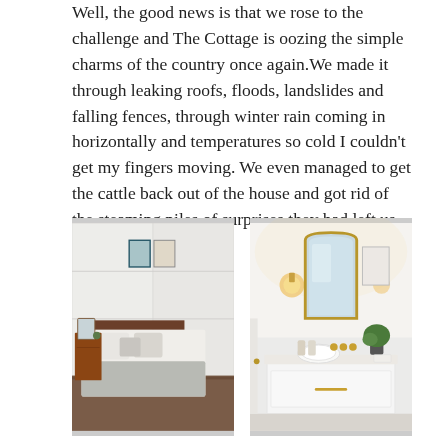Well, the good news is that we rose to the challenge and The Cottage is oozing the simple charms of the country once again.We made it through leaking roofs, floods, landslides and falling fences, through winter rain coming in horizontally and temperatures so cold I couldn't get my fingers moving. We even managed to get the cattle back out of the house and got rid of the steaming piles of surprises they had left us with.
[Figure (photo): Interior photo of a renovated cottage bedroom with white paneled walls, a bed with white and grey bedding, two framed artworks above the headboard, and a wooden dresser with a mirror.]
[Figure (photo): Interior photo of a renovated cottage bathroom with a white floating vanity, round white basin sink, gold brass fixtures, an arched gold-framed mirror with warm wall sconce lighting, and a plant.]